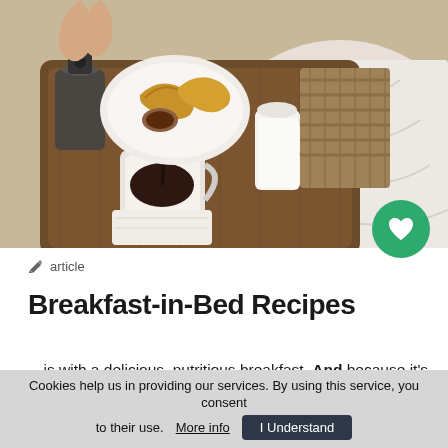[Figure (photo): A wooden breakfast tray on a bed with white linens, containing a coffee mug with black coffee being poured, a glass jug of milk, croissants and pastries on a plate, and a wooden handled item. A hand is visible at the top.]
✏ article
Breakfast-in-Bed Recipes
…is with a delicious, nutritious breakfast. And because it's not every day you can enjoy this … special opportunity. And because it's Friday we decided to bring you the … ultimate list of breakfast-in-bed recipes, which you can
Cookies help us in providing our services. By using this service, you consent to their use. More info  I Understand